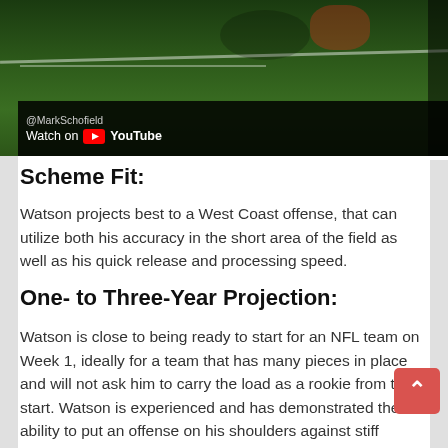[Figure (screenshot): YouTube video embed showing a football field scene with green grass. An '@MarkSchofield' watermark is visible. A 'Watch on YouTube' button overlay appears at the bottom left of the video thumbnail.]
Scheme Fit:
Watson projects best to a West Coast offense, that can utilize both his accuracy in the short area of the field as well as his quick release and processing speed.
One- to Three-Year Projection:
Watson is close to being ready to start for an NFL team on Week 1, ideally for a team that has many pieces in place and will not ask him to carry the load as a rookie from the start. Watson is experienced and has demonstrated the ability to put an offense on his shoulders against stiff competition, as he showed in two-straight National Championship Game appearances at the